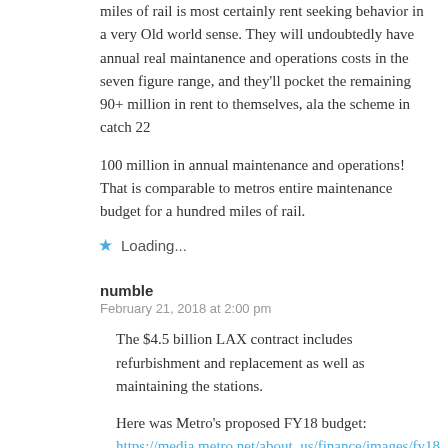miles of rail is most certainly rent seeking behavior in a very Old world sense. They will undoubtedly have annual real maintanence and operations costs in the seven figure range, and they'll pocket the remaining 90+ million in rent to themselves, ala the scheme in catch 22
100 million in annual maintenance and operations! That is comparable to metros entire maintenance budget for a hundred miles of rail.
Loading...
numble
February 21, 2018 at 2:00 pm
The $4.5 billion LAX contract includes refurbishment and replacement as well as maintaining the stations.
Here was Metro's proposed FY18 budget:
https://media.metro.net/about_us/finance/images/fy18_p05.pdf